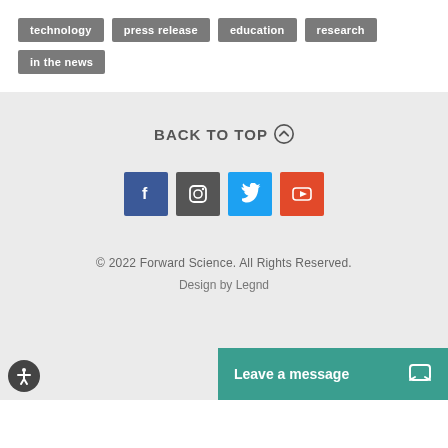technology
press release
education
research
in the news
BACK TO TOP
[Figure (other): Social media icons: Facebook, Instagram, Twitter, YouTube]
© 2022 Forward Science. All Rights Reserved. Design by Legnd
Leave a message